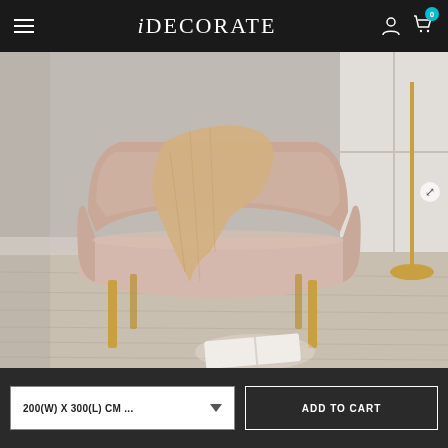iDECORATE
[Figure (photo): A blush pink velvet loveseat bench with gold tapered legs, draped with a cream knit throw, set in a grey room with hardwood floors and a gold floor lamp. An open magazine lies on the floor in front.]
LOVE SEAT BENCH
IDECORATE
200(W) X 300(L) CM ...
ADD TO CART